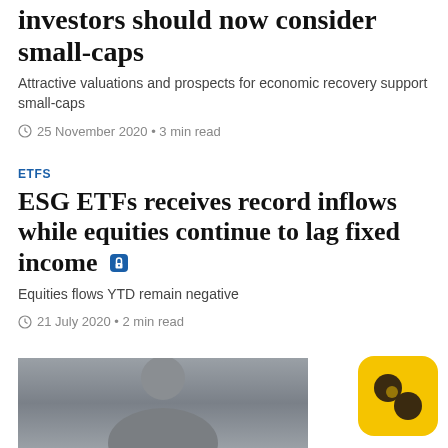investors should now consider small-caps
Attractive valuations and prospects for economic recovery support small-caps
25 November 2020 • 3 min read
ETFS
ESG ETFs receives record inflows while equities continue to lag fixed income 🔒
Equities flows YTD remain negative
21 July 2020 • 2 min read
[Figure (photo): Partial photo of a bald man, shown from chest up, against a grey concrete background]